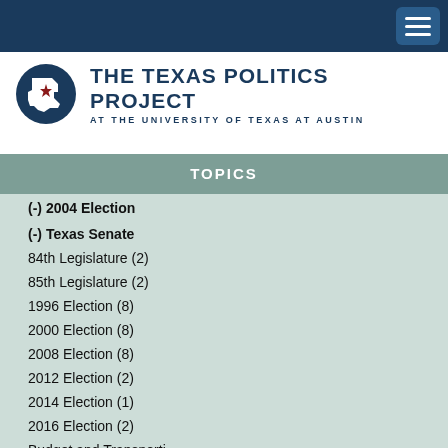Navigation bar with hamburger menu
[Figure (logo): The Texas Politics Project at the University of Texas at Austin logo with Texas state silhouette and red star]
TOPICS
(-) 2004 Election
(-) Texas Senate
84th Legislature (2)
85th Legislature (2)
1996 Election (8)
2000 Election (8)
2008 Election (8)
2012 Election (2)
2014 Election (1)
2016 Election (2)
Budget and Transportation (partial)